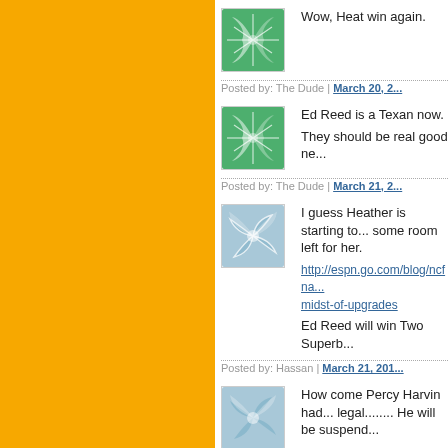[Figure (illustration): Green swirling avatar icon for The Dude, comment 1]
Wow, Heat win again.
Posted by: The Dude | March 20, 2...
[Figure (illustration): Green swirling avatar icon for The Dude, comment 2]
Ed Reed is a Texan now.

They should be real good ne...
Posted by: The Dude | March 21, 2...
[Figure (illustration): Blue swirling avatar icon for Hassan]
I guess Heather is starting to... some room left for her.

http://espn.go.com/blog/ncfna...midst-of-upgrades

Ed Reed will win Two Superb...
Posted by: Hassan | March 21, 201...
[Figure (illustration): Blue swirling avatar icon for comment 4]
How come Percy Harvin had... legal........ He will be suspend...